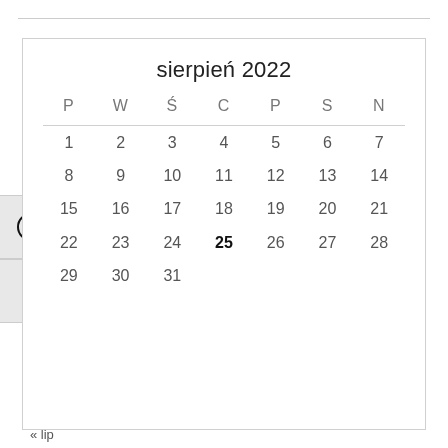sierpień 2022
| P | W | Ś | C | P | S | N |
| --- | --- | --- | --- | --- | --- | --- |
| 1 | 2 | 3 | 4 | 5 | 6 | 7 |
| 8 | 9 | 10 | 11 | 12 | 13 | 14 |
| 15 | 16 | 17 | 18 | 19 | 20 | 21 |
| 22 | 23 | 24 | 25 | 26 | 27 | 28 |
| 29 | 30 | 31 |  |  |  |  |
« lip